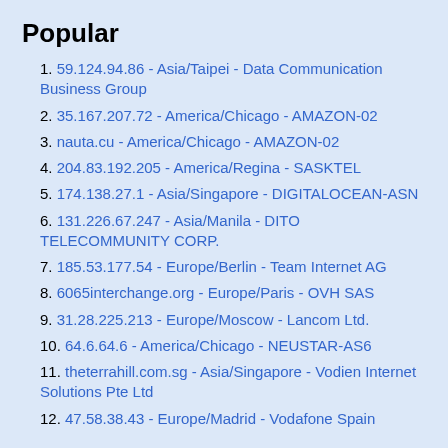Popular
1. 59.124.94.86 - Asia/Taipei - Data Communication Business Group
2. 35.167.207.72 - America/Chicago - AMAZON-02
3. nauta.cu - America/Chicago - AMAZON-02
4. 204.83.192.205 - America/Regina - SASKTEL
5. 174.138.27.1 - Asia/Singapore - DIGITALOCEAN-ASN
6. 131.226.67.247 - Asia/Manila - DITO TELECOMMUNITY CORP.
7. 185.53.177.54 - Europe/Berlin - Team Internet AG
8. 6065interchange.org - Europe/Paris - OVH SAS
9. 31.28.225.213 - Europe/Moscow - Lancom Ltd.
10. 64.6.64.6 - America/Chicago - NEUSTAR-AS6
11. theterrahill.com.sg - Asia/Singapore - Vodien Internet Solutions Pte Ltd
12. 47.58.38.43 - Europe/Madrid - Vodafone Spain